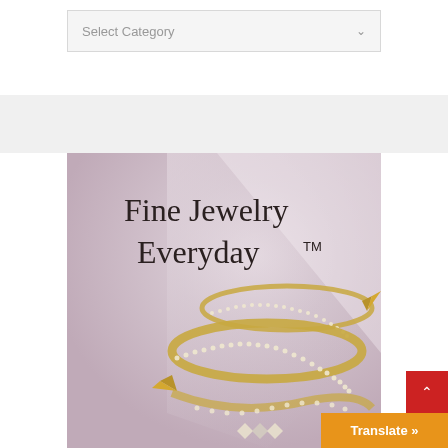Select Category
[Figure (illustration): Fine Jewelry Everyday advertisement showing gold diamond-encrusted wrap bracelets on a lavender/mauve gradient background. Text reads 'Fine Jewelry Everyday™' in serif font.]
Translate »